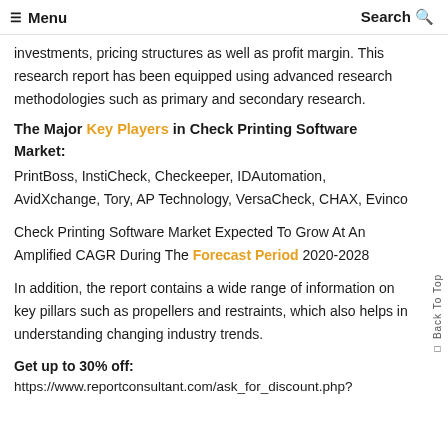☰ Menu   Search
investments, pricing structures as well as profit margin. This research report has been equipped using advanced research methodologies such as primary and secondary research.
The Major Key Players in Check Printing Software Market:
PrintBoss, InstiCheck, Checkeeper, IDAutomation, AvidXchange, Tory, AP Technology, VersaCheck, CHAX, Evinco
Check Printing Software Market Expected To Grow At An Amplified CAGR During The Forecast Period 2020-2028
In addition, the report contains a wide range of information on key pillars such as propellers and restraints, which also helps in understanding changing industry trends.
Get up to 30% off:
https://www.reportconsultant.com/ask_for_discount.php?